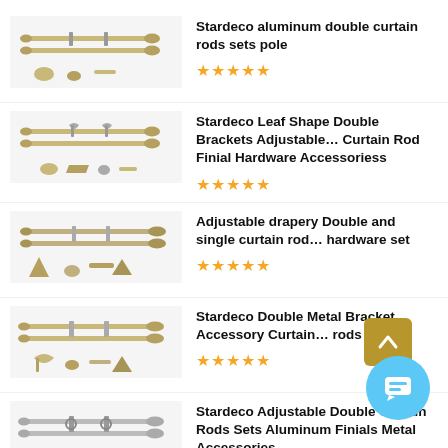Stardeco aluminum double curtain rods sets pole ★★★★★
Stardeco Leaf Shape Double Brackets Adjustable… Curtain Rod Finial Hardware Accessoriess ★★★★★
Adjustable drapery Double and single curtain rod… hardware set ★★★★★
Stardeco Double Metal Bracket Accessory Curtain… rods set ★★★★★
Stardeco Adjustable Double Curtain Rods Sets Aluminum Finials Metal Accessories ★★★★★